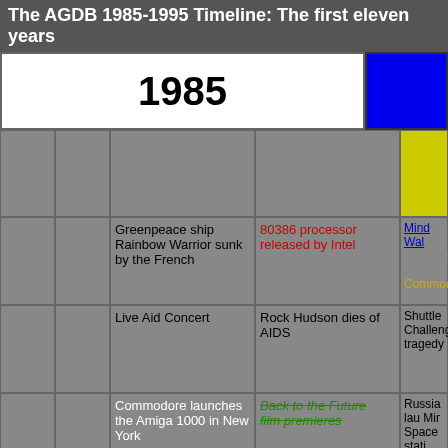The AGDB 1985-1995 Timeline: The first eleven years
[Figure (infographic): Timeline grid for 1985 showing various world events in colored cells. The year 1985 is shown in a large white header cell. Grid cells below contain events: Greenpeace ship Rainbow Warrior sunk by the French; 80386 processor released by Intel (red text); Mind Walker released by Commodore (blue/yellow text); Live Aid Concert; Rock Hudson dies of AIDS; Shuttle Challenger tragedy; Commodore launches the Amiga 1000 in New York; Back to the Future film premieres (green text); Russia launches Mir Space station; Atari launches (cut off, red text).]